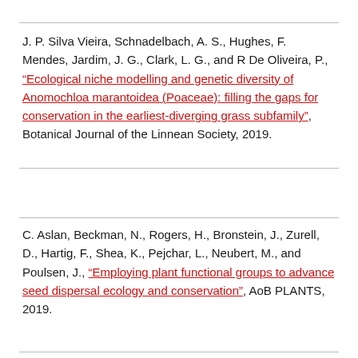J. P. Silva Vieira, Schnadelbach, A. S., Hughes, F. Mendes, Jardim, J. G., Clark, L. G., and R De Oliveira, P., “Ecological niche modelling and genetic diversity of Anomochloa marantoidea (Poaceae): filling the gaps for conservation in the earliest-diverging grass subfamily”, Botanical Journal of the Linnean Society, 2019.
C. Aslan, Beckman, N., Rogers, H., Bronstein, J., Zurell, D., Hartig, F., Shea, K., Pejchar, L., Neubert, M., and Poulsen, J., “Employing plant functional groups to advance seed dispersal ecology and conservation”, AoB PLANTS, 2019.